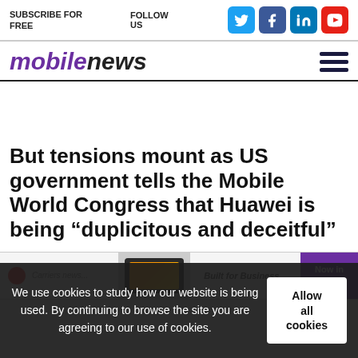SUBSCRIBE FOR FREE   FOLLOW US
mobilenews
But tensions mount as US government tells the Mobile World Congress that Huawei is being “duplicitous and deceitful”
[Figure (screenshot): Partial view of a product image strip showing a device with an orange screen and a purple 'Now in Stock' badge]
We use cookies to study how our website is being used. By continuing to browse the site you are agreeing to our use of cookies.